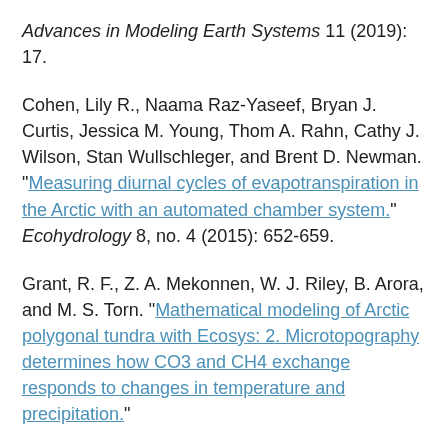Advances in Modeling Earth Systems 11 (2019): 17.
Cohen, Lily R., Naama Raz-Yaseef, Bryan J. Curtis, Jessica M. Young, Thom A. Rahn, Cathy J. Wilson, Stan Wullschleger, and Brent D. Newman. "Measuring diurnal cycles of evapotranspiration in the Arctic with an automated chamber system." Ecohydrology 8, no. 4 (2015): 652-659.
Grant, R. F., Z. A. Mekonnen, W. J. Riley, B. Arora, and M. S. Torn. "Mathematical modeling of Arctic polygonal tundra with Ecosys: 2. Microtopography determines how CO3 and CH4 exchange responds to changes in temperature and precipitation."